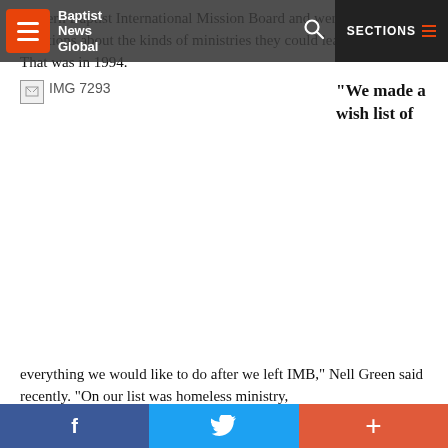Baptist News Global — SECTIONS navigation bar
Southern Baptist International Mission Board and were asking questions about the kinds of ministries they could lead for CBF. That was in 1994.
[Figure (photo): Broken image placeholder labeled IMG 7293]
“We made a wish list of everything we would like to do after we left IMB,” Nell Green said recently. “On our list was homeless ministry,
Social share bar: Facebook, Twitter, Plus